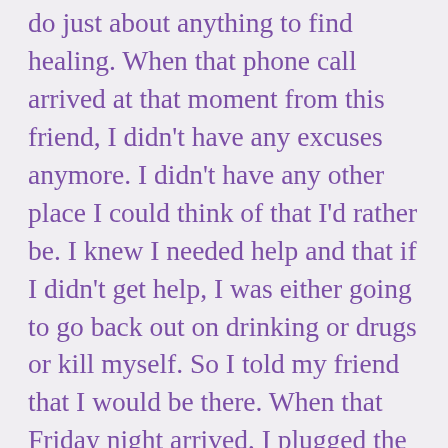do just about anything to find healing. When that phone call arrived at that moment from this friend, I didn't have any excuses anymore. I didn't have any other place I could think of that I'd rather be. I knew I needed help and that if I didn't get help, I was either going to go back out on drinking or drugs or kill myself. So I told my friend that I would be there. When that Friday night arrived, I plugged the directions into my GPS for the church that the meeting was being held at, and an hour later, I arrived. As I walked in the front door of the church, I saw my friend, along with a tremendous amount of other people who were all smiling, laughing, and greeting each other with hugs. I felt completely at odds.